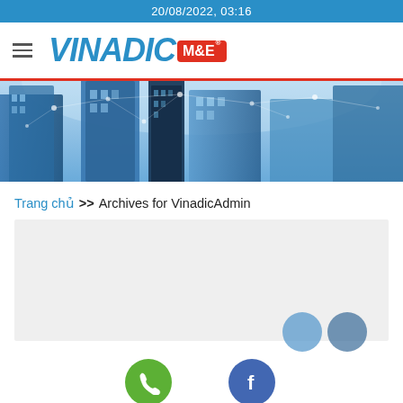20/08/2022, 03:16
[Figure (logo): VINADIC M&E logo with hamburger menu icon]
[Figure (photo): Hero banner showing modern skyscrapers with blue digital network overlay]
Trang chủ >> Archives for VinadicAdmin
[Figure (other): Light grey content area placeholder]
Phone
Facebook